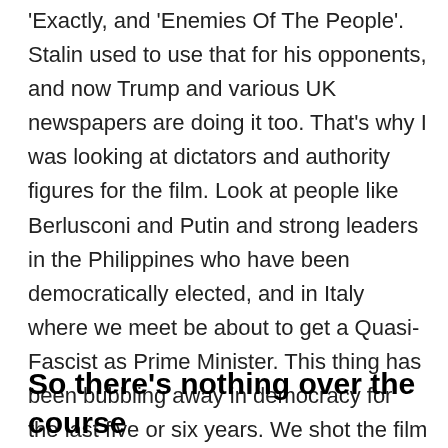'Exactly, and 'Enemies Of The People'. Stalin used to use that for his opponents, and now Trump and various UK newspapers are doing it too. That's why I was looking at dictators and authority figures for the film. Look at people like Berlusconi and Putin and strong leaders in the Philippines who have been democratically elected, and in Italy where we meet be about to get a Quasi-Fascist as Prime Minister. This thing has been bubbling away in democracy for the last five or six years. We shot the film two summers ago before Trump and Brexit, but now it's come out to a climate that's much more like the one in the film, which is slightly worrying."
So there's nothing over the course